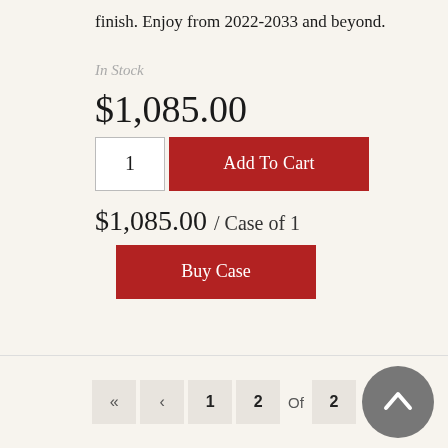finish. Enjoy from 2022-2033 and beyond.
In Stock
$1,085.00
1
Add To Cart
$1,085.00 / Case of 1
Buy Case
« ‹ 1  2 Of 2